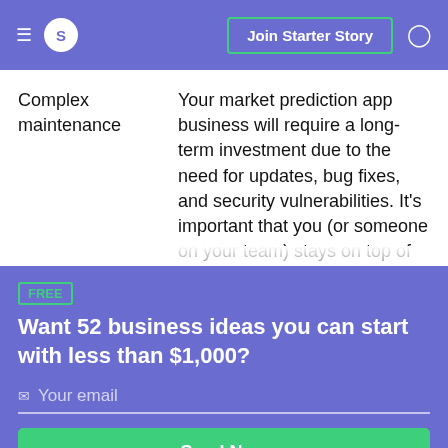S  Join Starter Story
Complex maintenance — Your market prediction app business will require a long-term investment due to the need for updates, bug fixes, and security vulnerabilities. It's important that you (or someone on your team) stays on top of this at all times
FREE
Want 52 business ideas you can start with less than $1,000?
Your email
Send Now